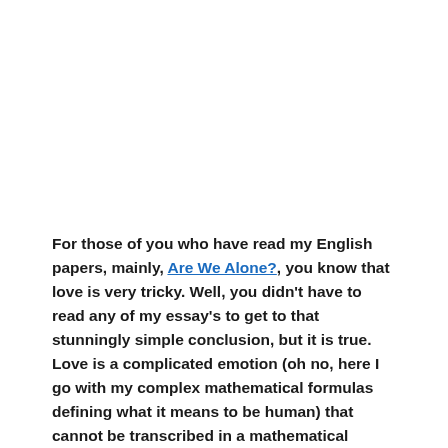For those of you who have read my English papers, mainly, Are We Alone?, you know that love is very tricky. Well, you didn't have to read any of my essay's to get to that stunningly simple conclusion, but it is true. Love is a complicated emotion (oh no, here I go with my complex mathematical formulas defining what it means to be human) that cannot be transcribed in a mathematical